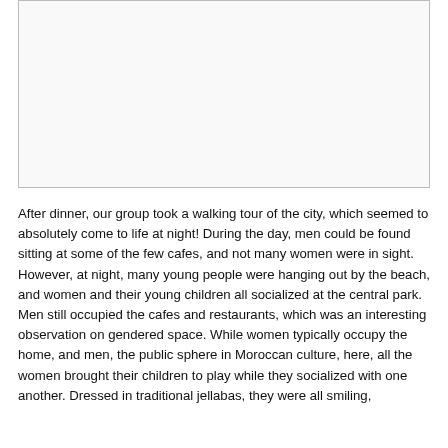[Figure (photo): A blank/white image placeholder box with a thin border]
After dinner, our group took a walking tour of the city, which seemed to absolutely come to life at night! During the day, men could be found sitting at some of the few cafes, and not many women were in sight. However, at night, many young people were hanging out by the beach, and women and their young children all socialized at the central park. Men still occupied the cafes and restaurants, which was an interesting observation on gendered space. While women typically occupy the home, and men, the public sphere in Moroccan culture, here, all the women brought their children to play while they socialized with one another. Dressed in traditional jellabas, they were all smiling,